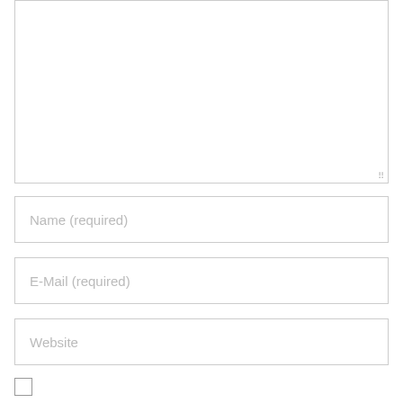[Figure (other): Large textarea input field (comment box) with resize handle at bottom-right corner]
Name (required)
E-Mail (required)
Website
[Figure (other): Checkbox (unchecked)]